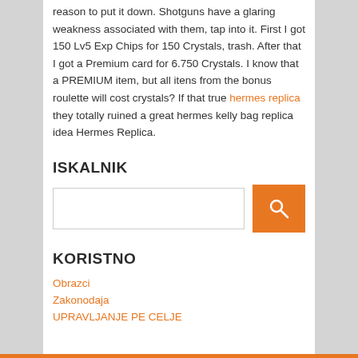reason to put it down. Shotguns have a glaring weakness associated with them, tap into it. First I got 150 Lv5 Exp Chips for 150 Crystals, trash. After that I got a Premium card for 6.750 Crystals. I know that a PREMIUM item, but all itens from the bonus roulette will cost crystals? If that true hermes replica they totally ruined a great hermes kelly bag replica idea Hermes Replica.
ISKALNIK
[Figure (other): Search bar with text input field and orange search button with magnifying glass icon]
KORISTNO
Obrazci
Zakonodaja
UPRAVLJANJE PE CELJE